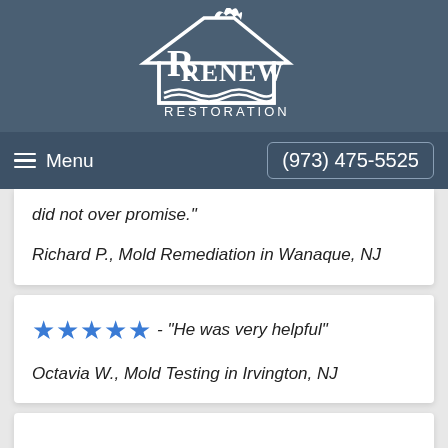[Figure (logo): Renew Restoration logo - house outline with flame on top and waves at bottom, white on dark blue background, text reads RENEW RESTORATION]
Menu   (973) 475-5525
did not over promise."
Richard P., Mold Remediation in Wanaque, NJ
★★★★★ - "He was very helpful"
Octavia W., Mold Testing in Irvington, NJ